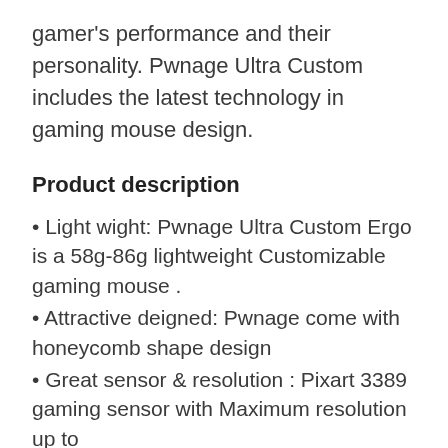gamer's performance and their personality. Pwnage Ultra Custom includes the latest technology in gaming mouse design.
Product description
• Light wight: Pwnage Ultra Custom Ergo is a 58g-86g lightweight Customizable gaming mouse .
• Attractive deigned: Pwnage come with honeycomb shape design
• Great sensor & resolution : Pixart 3389 gaming sensor with Maximum resolution up to